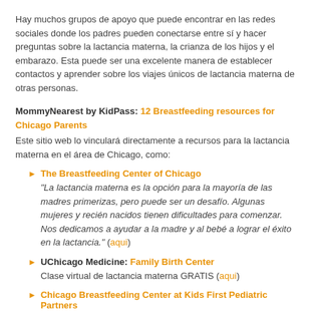Hay muchos grupos de apoyo que puede encontrar en las redes sociales donde los padres pueden conectarse entre sí y hacer preguntas sobre la lactancia materna, la crianza de los hijos y el embarazo. Esta puede ser una excelente manera de establecer contactos y aprender sobre los viajes únicos de lactancia materna de otras personas.
MommyNearest by KidPass: 12 Breastfeeding resources for Chicago Parents
Este sitio web lo vinculará directamente a recursos para la lactancia materna en el área de Chicago, como:
The Breastfeeding Center of Chicago — "La lactancia materna es la opción para la mayoría de las madres primerizas, pero puede ser un desafío. Algunas mujeres y recién nacidos tienen dificultades para comenzar. Nos dedicamos a ayudar a la madre y al bebé a lograr el éxito en la lactancia." (aqui)
UChicago Medicine: Family Birth Center — Clase virtual de lactancia materna GRATIS (aqui)
Chicago Breastfeeding Center at Kids First Pediatric Partners — Planes de alimentación y diario de lactancia — "Entendemos que cada madre que amamanta tiene diferentes objetivos y circunstancias únicas. En cada visita buscamos ayudar a las madres a"